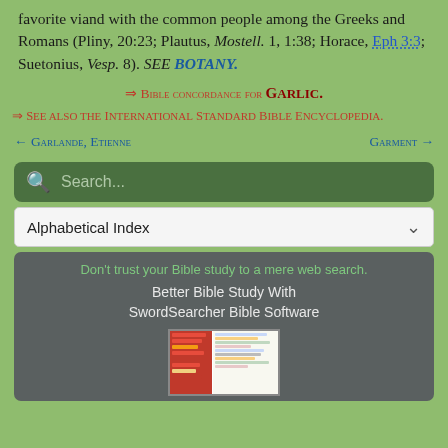favorite viand with the common people among the Greeks and Romans (Pliny, 20:23; Plautus, Mostell. 1, 1:38; Horace, Eph 3:3; Suetonius, Vesp. 8). SEE BOTANY.
⇒ Bible concordance for GARLIC.
⇒ See also the International Standard Bible Encyclopedia.
← Garlande, Etienne    Garment →
[Figure (screenshot): Search bar with magnifying glass icon and placeholder text 'Search...' on dark green background]
Alphabetical Index
[Figure (screenshot): Advertisement box: Don't trust your Bible study to a mere web search. Better Bible Study With SwordSearcher Bible Software, with a screenshot of the software.]